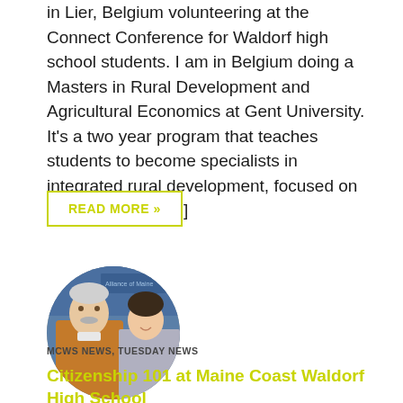in Lier, Belgium volunteering at the Connect Conference for Waldorf high school students. I am in Belgium doing a Masters in Rural Development and Agricultural Economics at Gent University. It's a two year program that teaches students to become specialists in integrated rural development, focused on socioeconomic [...]
READ MORE »
[Figure (photo): Circular portrait photo of an older man with white hair and mustache wearing a brown jacket, and a younger woman smiling beside him, with a booth banner visible in the background.]
MCWS NEWS, TUESDAY NEWS
Citizenship 101 at Maine Coast Waldorf High School